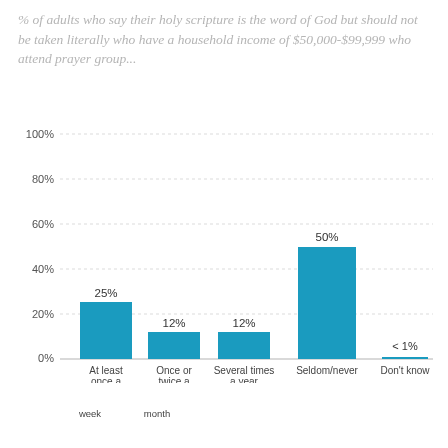% of adults who say their holy scripture is the word of God but should not be taken literally who have a household income of $50,000-$99,999 who attend prayer group...
[Figure (bar-chart): ]